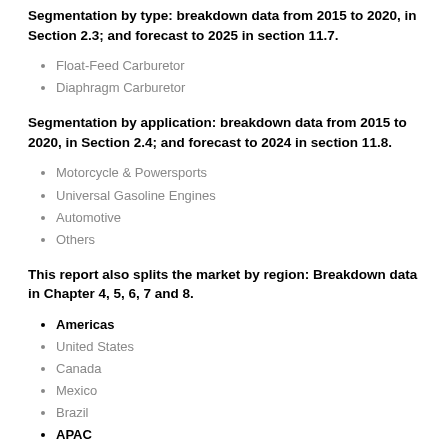Segmentation by type: breakdown data from 2015 to 2020, in Section 2.3; and forecast to 2025 in section 11.7.
Float-Feed Carburetor
Diaphragm Carburetor
Segmentation by application: breakdown data from 2015 to 2020, in Section 2.4; and forecast to 2024 in section 11.8.
Motorcycle & Powersports
Universal Gasoline Engines
Automotive
Others
This report also splits the market by region: Breakdown data in Chapter 4, 5, 6, 7 and 8.
Americas
United States
Canada
Mexico
Brazil
APAC
China
Japan
Korea
Southeast Asia